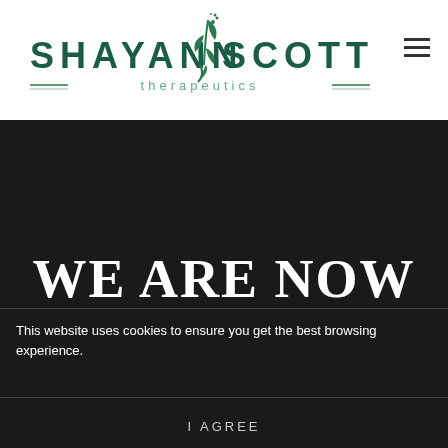[Figure (logo): Shayann Scott Therapeutics logo with green leaf/plant motif and decorative lines around 'therapeutics']
WE ARE NOW
OPEN!
This website uses cookies to ensure you get the best browsing experience.
I AGREE